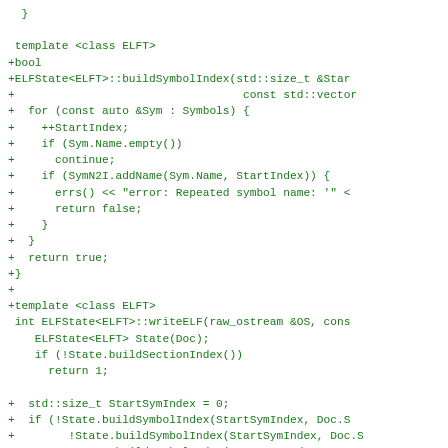Code diff showing ELF symbol index building and writeELF function implementation in C++